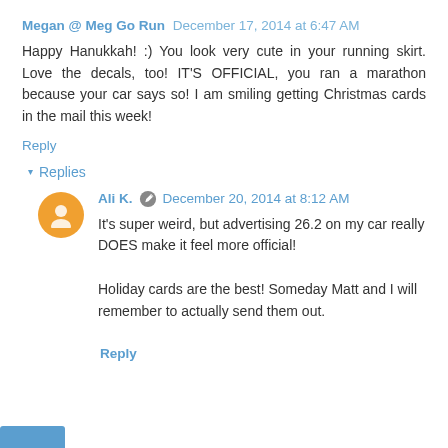Megan @ Meg Go Run December 17, 2014 at 6:47 AM
Happy Hanukkah! :) You look very cute in your running skirt. Love the decals, too! IT'S OFFICIAL, you ran a marathon because your car says so! I am smiling getting Christmas cards in the mail this week!
Reply
Replies
Ali K. December 20, 2014 at 8:12 AM
It's super weird, but advertising 26.2 on my car really DOES make it feel more official!

Holiday cards are the best! Someday Matt and I will remember to actually send them out.
Reply